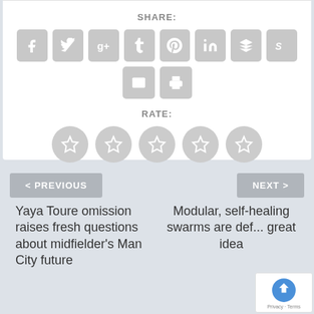SHARE:
[Figure (infographic): Social share buttons: Facebook, Twitter, Google+, Tumblr, Pinterest, LinkedIn, Buffer, StumbleUpon, Email, Print]
RATE:
[Figure (infographic): Five star rating circles, all grey/unselected]
< PREVIOUS
NEXT >
Yaya Toure omission raises fresh questions about midfielder's Man City future
Modular, self-healing swarms are def... great idea